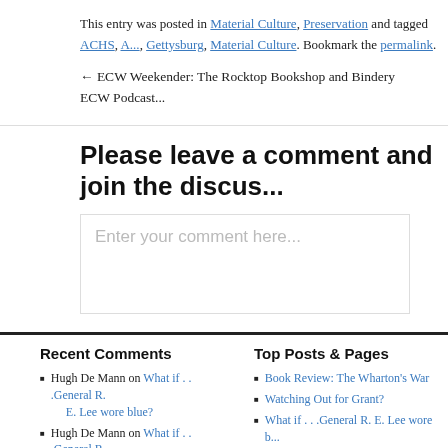This entry was posted in Material Culture, Preservation and tagged ACHS, A..., Gettysburg, Material Culture. Bookmark the permalink.
← ECW Weekender: The Rocktop Bookshop and Bindery   ECW Podcast...
Please leave a comment and join the discus...
Enter your comment here...
Recent Comments
Hugh De Mann on What if . . .General R. E. Lee wore blue?
Hugh De Mann on What if . . .General R. E. Lee wore blue?
Hugh De Mann on What if . . .General R. E. Lee wore blue?
Top Posts & Pages
Book Review: The Wharton's War
Watching Out for Grant?
What if . . .General R. E. Lee wore b...
ECW Honors Dan Welch with Upto... Award
ECW Weekender: A New Theater...